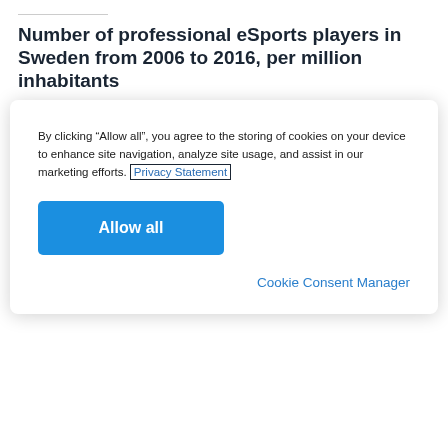Number of professional eSports players in Sweden from 2006 to 2016, per million inhabitants
By clicking “Allow all”, you agree to the storing of cookies on your device to enhance site navigation, analyze site usage, and assist in our marketing efforts. Privacy Statement
Allow all
Cookie Consent Manager